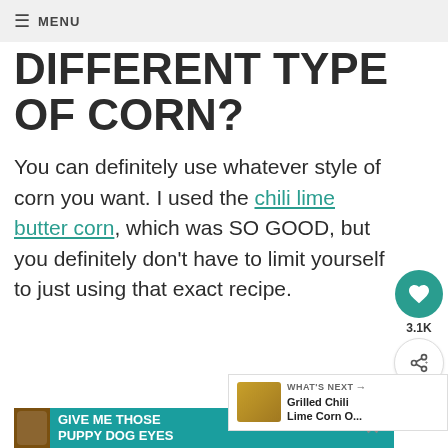≡ MENU
DIFFERENT TYPE OF CORN?
You can definitely use whatever style of corn you want. I used the chili lime butter corn, which was SO GOOD, but you definitely don't have to limit yourself to just using that exact recipe.
[Figure (screenshot): Social share sidebar with heart icon showing 3.1K likes and a share button]
[Figure (screenshot): What's Next panel showing Grilled Chili Lime Corn O...]
[Figure (photo): Advertisement banner: GIVE ME THOSE PUPPY DOG EYES with dog image]